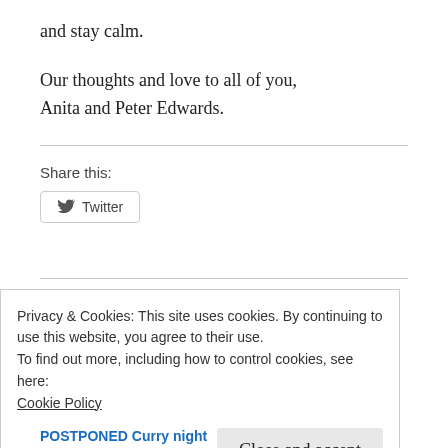and stay calm.
Our thoughts and love to all of you,
Anita and Peter Edwards.
Share this:
[Figure (other): Twitter share button with bird icon]
Privacy & Cookies: This site uses cookies. By continuing to use this website, you agree to their use.
To find out more, including how to control cookies, see here:
Cookie Policy
Close and accept
POSTPONED Curry night